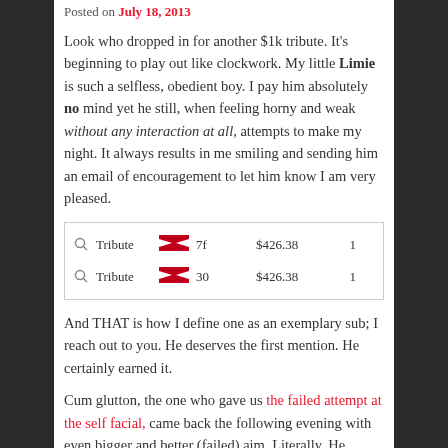Posted on July 18, 2013
Look who dropped in for another $1k tribute. It's beginning to play out like clockwork. My little Limie is such a selfless, obedient boy. I pay him absolutely no mind yet he still, when feeling horny and weak without any interaction at all, attempts to make my night. It always results in me smiling and sending him an email of encouragement to let him know I am very pleased.
|  | Type | Logo | Code | Amount | Count |
| --- | --- | --- | --- | --- | --- |
|  | Tribute | Z | 7f | $426.38 | 1 |
|  | Tribute | Z | 30 | $426.38 | 1 |
And THAT is how I define one as an exemplary sub; I reach out to you. He deserves the first mention. He certainly earned it.
Cum glutton, the one who gave us the failed attempt at the self facial, came back the following evening with even bigger and better (failed) aim. Literally. He voluntarily paid